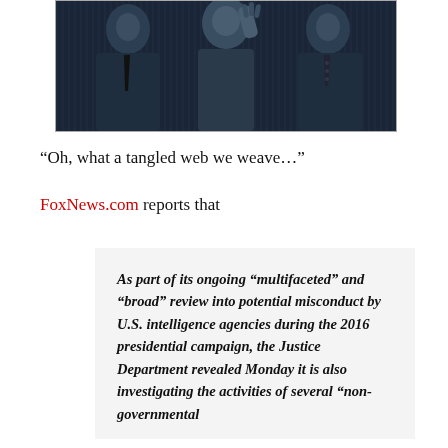[Figure (photo): Black and white/blue-tinted photo of three people — two men in suits on the sides and a woman in the center with her hand raised, appearing to be at an official proceeding or press event.]
“Oh, what a tangled web we weave…”
FoxNews.com reports that
As part of its ongoing “multifaceted” and “broad” review into potential misconduct by U.S. intelligence agencies during the 2016 presidential campaign, the Justice Department revealed Monday it is also investigating the activities of several “non-governmental